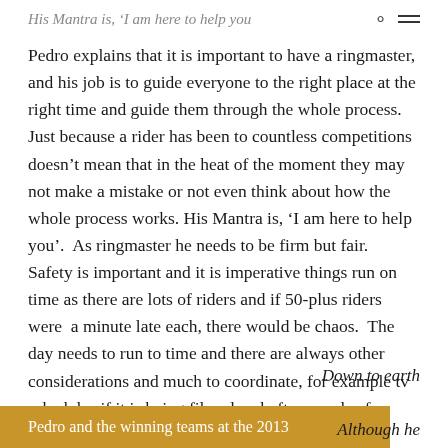His Mantra is, ‘I am here to help you
Pedro explains that it is important to have a ringmaster, and his job is to guide everyone to the right place at the right time and guide them through the whole process.  Just because a rider has been to countless competitions doesn’t mean that in the heat of the moment they may not make a mistake or not even think about how the whole process works. His Mantra is, ‘I am here to help you’.  As ringmaster he needs to be firm but fair.  Safety is important and it is imperative things run on time as there are lots of riders and if 50-plus riders were  a minute late each, there would be chaos.  The day needs to run to time and there are always other considerations and much to coordinate, for example tv schedules if it is being filmed and often words of encouragement are needed.
Down to earth
Pedro and the winning teams at the 2013
Although he